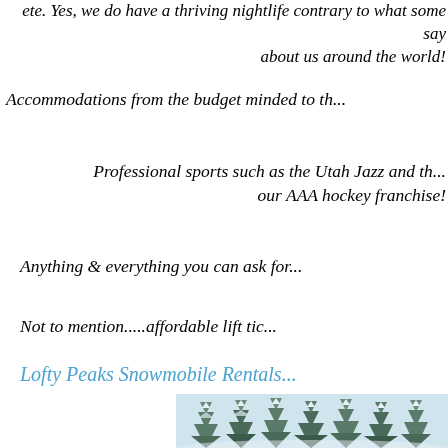ete. Yes, we do have a thriving nightlife contrary to what some say about us around the world!
Accommodations from the budget minded to th...
Professional sports such as the Utah Jazz and th... our AAA hockey franchise!
Anything & everything you can ask for...
Not to mention.....affordable lift tic...
Lofty Peaks Snowmobile Rentals
[Figure (photo): Snow-covered evergreen trees in a winter mountain landscape]